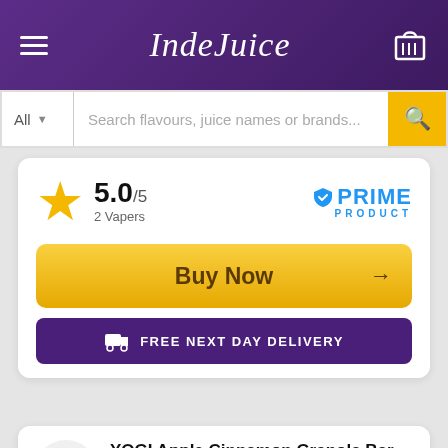IndeJuice
Search flavours, juice names or brands...
5.0/5 2 Vapers — PRIME PRODUCT
Buy Now →
FREE NEXT DAY DELIVERY
36 YOGI Apple Cinnamon Granola Bar E-Liquid
4.5 Stars Scored By 15 Vapers